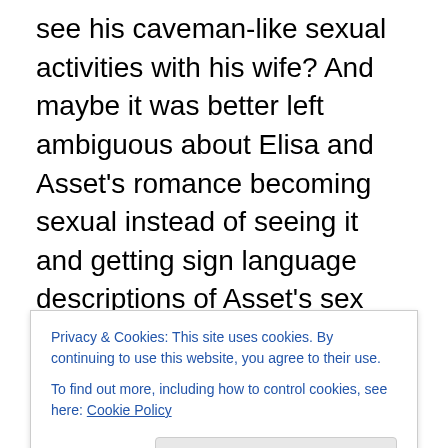see his caveman-like sexual activities with his wife? And maybe it was better left ambiguous about Elisa and Asset's romance becoming sexual instead of seeing it and getting sign language descriptions of Asset's sex organ. It kind of takes away from the wonder that we become privy to such graphic detail. That and The Asset still comes across very much an animal and Elisa's sexual relationship with it is unsettling even if Asset can communicate and enjoys music. It's a bit uncomfortable and not as charming as intended. Del Toro also tries to tackle some social issues like racism and anti-gay
Privacy & Cookies: This site uses cookies. By continuing to use this website, you agree to their use. To find out more, including how to control cookies, see here: Cookie Policy
heavy handed, despite being relevant themes. Still, there